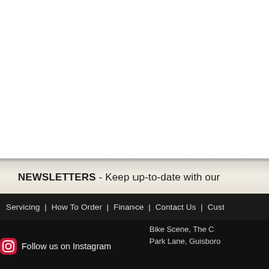NEWSLETTERS - Keep up-to-date with our
Servicing  |  How To Order  |  Finance  |  Contact Us  |  Cust
Bike Scene, The C
Park Lane, Guisboro
Follow us on Instagram